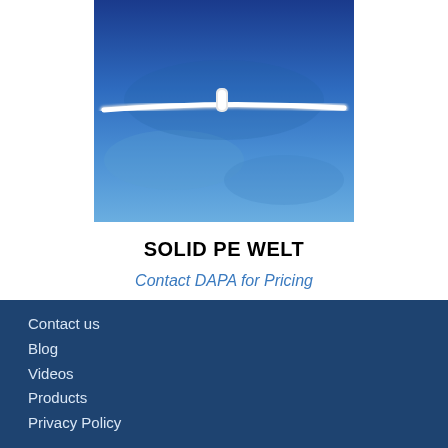[Figure (photo): A white solid PE welt strip lying on a blue background, showing a curved horizontal rod with a small vertical protrusion near the center.]
SOLID PE WELT
Contact DAPA for Pricing
Contact us
Blog
Videos
Products
Privacy Policy